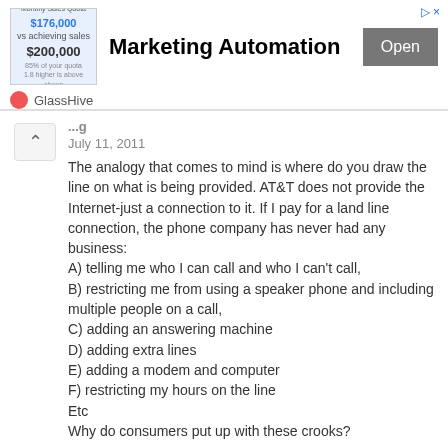[Figure (screenshot): Advertisement banner for GlassHive Marketing Automation with an Open button]
The analogy that comes to mind is where do you draw the line on what is being provided. AT&T does not provide the Internet-just a connection to it. If I pay for a land line connection, the phone company has never had any business: A) telling me who I can call and who I can't call, B) restricting me from using a speaker phone and including multiple people on a call, C) adding an answering machine D) adding extra lines E) adding a modem and computer F) restricting my hours on the line Etc Why do consumers put up with these crooks?
Reply
Momo
September 27, 2011